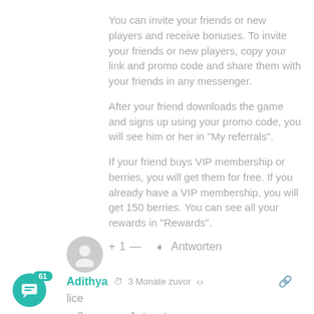You can invite your friends or new players and receive bonuses. To invite your friends or new players, copy your link and promo code and share them with your friends in any messenger.
After your friend downloads the game and signs up using your promo code, you will see him or her in “My referrals”.
If your friend buys VIP membership or berries, you will get them for free. If you already have a VIP membership, you will get 150 berries. You can see all your rewards in “Rewards”.
+ 1 —  ➜ Antworten
[Figure (illustration): User avatar grey circle with person silhouette icon]
Adithya  3 Monate zuvor  share  link
lice
+ 2 —  ➜ Antworten